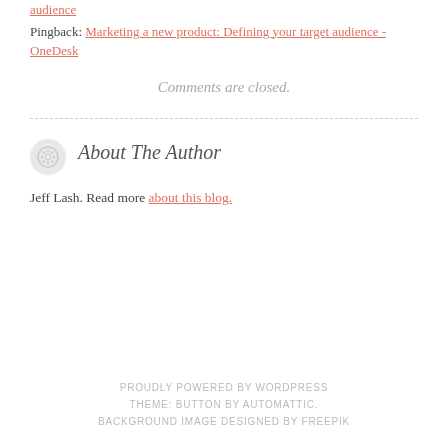audience
Pingback: Marketing a new product: Defining your target audience - OneDesk
Comments are closed.
About The Author
Jeff Lash. Read more about this blog.
PROUDLY POWERED BY WORDPRESS
THEME: BUTTON BY AUTOMATTIC.
BACKGROUND IMAGE DESIGNED BY FREEPIK